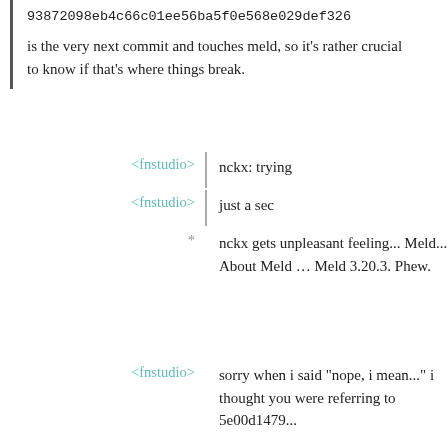93872098eb4c66c01ee56ba5f0e568e029def326 is the very next commit and touches meld, so it's rather crucial to know if that's where things break.
<fnstudio> nckx: trying
<fnstudio> just a sec
* nckx gets unpleasant feeling... Meld... About Meld … Meld 3.20.3. Phew.
<fnstudio> sorry when i said "nope, i mean..." i thought you were referring to 5e00d1479...
<fnstudio> ...